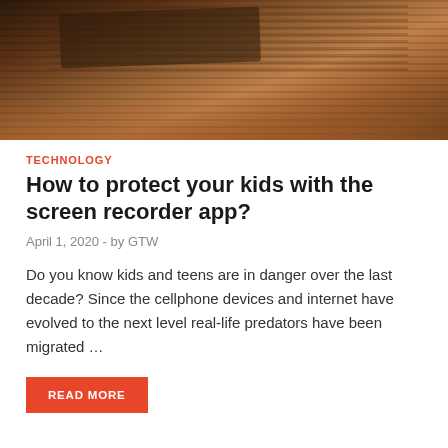[Figure (photo): Person wearing striped shirt holding a smartphone, with earphones, photographed from above/side angle with warm brown background tones]
TECHNOLOGY
How to protect your kids with the screen recorder app?
April 1, 2020  -  by GTW
Do you know kids and teens are in danger over the last decade? Since the cellphone devices and internet have evolved to the next level real-life predators have been migrated …
[Figure (photo): Row of security surveillance cameras mounted on a dark wall or ceiling, viewed from below]